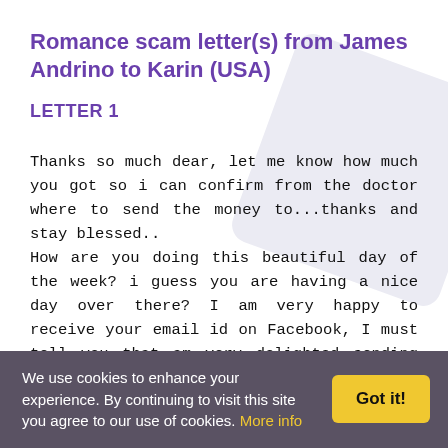Romance scam letter(s) from James Andrino to Karin (USA)
LETTER 1
Thanks so much dear, let me know how much you got so i can confirm from the doctor where to send the money to...thanks and stay blessed.. How are you doing this beautiful day of the week? i guess you are having a nice day over there? I am very happy to receive your email id on Facebook, I must tell you that am very delighted sending you this email for a sincere relationship with you in my life and i pray that you will be the honest woman that will bring meaning into
We use cookies to enhance your experience. By continuing to visit this site you agree to our use of cookies. More info